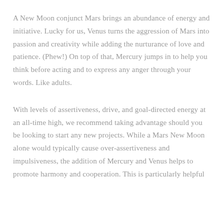A New Moon conjunct Mars brings an abundance of energy and initiative. Lucky for us, Venus turns the aggression of Mars into passion and creativity while adding the nurturance of love and patience. (Phew!) On top of that, Mercury jumps in to help you think before acting and to express any anger through your words. Like adults.
With levels of assertiveness, drive, and goal-directed energy at an all-time high, we recommend taking advantage should you be looking to start any new projects. While a Mars New Moon alone would typically cause over-assertiveness and impulsiveness, the addition of Mercury and Venus helps to promote harmony and cooperation. This is particularly helpful